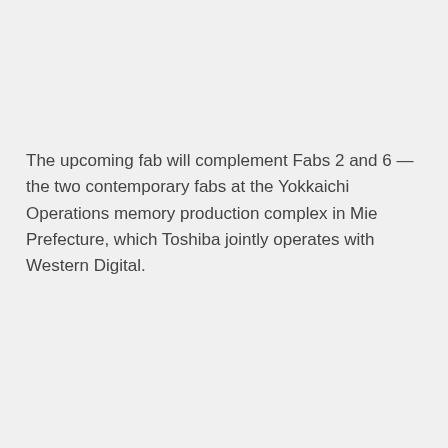The upcoming fab will complement Fabs 2 and 6 — the two contemporary fabs at the Yokkaichi Operations memory production complex in Mie Prefecture, which Toshiba jointly operates with Western Digital.